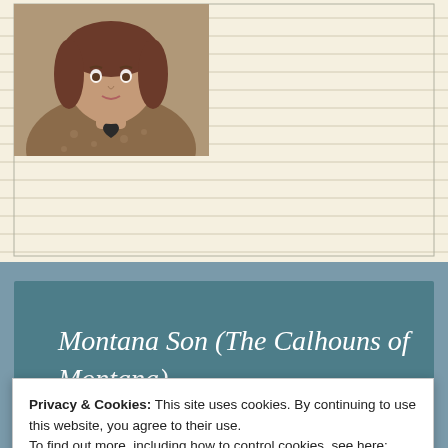[Figure (photo): Portrait photo of a woman wearing a brown/beige floral top and a heart-shaped pendant necklace, photographed from shoulders up]
Montana Son (The Calhouns of Montana)
Privacy & Cookies: This site uses cookies. By continuing to use this website, you agree to their use.
To find out more, including how to control cookies, see here: Cookie Policy
Close and accept